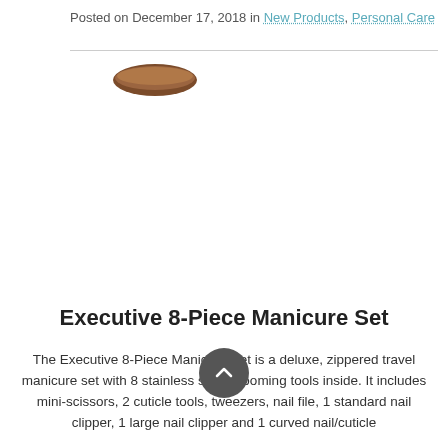Posted on December 17, 2018 in New Products, Personal Care
[Figure (photo): Partial view of a brown leather manicure set case, showing the top curved edge.]
Executive 8-Piece Manicure Set
The Executive 8-Piece Manicure Set is a deluxe, zippered travel manicure set with 8 stainless steel grooming tools inside. It includes mini-scissors, 2 cuticle tools, tweezers, nail file, 1 standard nail clipper, 1 large nail clipper and 1 curved nail/cuticle